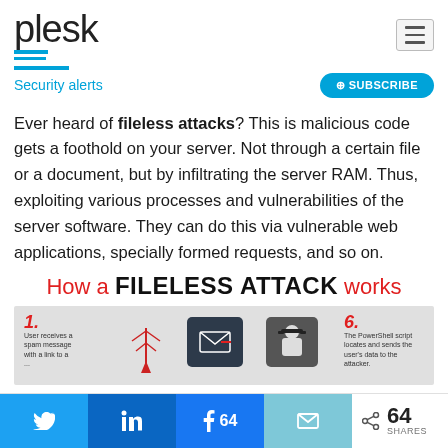plesk
Security alerts
Ever heard of fileless attacks? This is malicious code gets a foothold on your server. Not through a certain file or a document, but by infiltrating the server RAM. Thus, exploiting various processes and vulnerabilities of the server software. They can do this via vulnerable web applications, specially formed requests, and so on.
[Figure (infographic): Infographic titled 'How a FILELESS ATTACK works' showing partial steps: Step 1 - User receives a spam message with a link to a [page], Step 6 - The PowerShell script locates and sends the user's data to the attacker. Shows icons including an email/envelope icon and a figure of a person in a hat.]
Twitter share | LinkedIn share | Facebook share 64 | Email share | < 64 SHARES